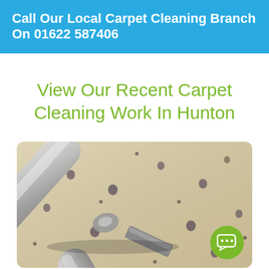Call Our Local Carpet Cleaning Branch On 01622 587406
View Our Recent Carpet Cleaning Work In Hunton
[Figure (photo): Close-up photo of a metal carpet cleaning wand/nozzle on a beige patterned carpet with floral motifs, with a green chat bubble icon in the bottom right corner]